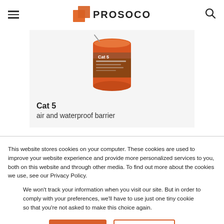PROSOCO
[Figure (photo): Product image of Cat 5 air and waterproof barrier container, orange cylindrical bucket with brown label]
Cat 5
air and waterproof barrier
This website stores cookies on your computer. These cookies are used to improve your website experience and provide more personalized services to you, both on this website and through other media. To find out more about the cookies we use, see our Privacy Policy.
We won't track your information when you visit our site. But in order to comply with your preferences, we'll have to use just one tiny cookie so that you're not asked to make this choice again.
Accept
Decline